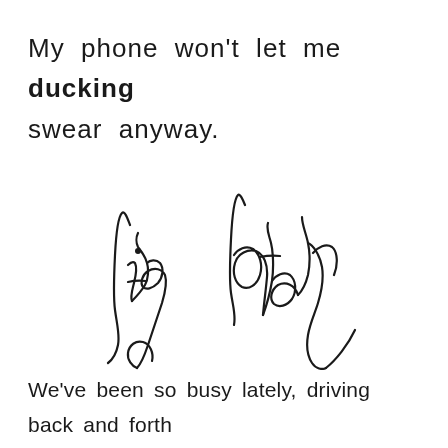My phone won't let me ducking swear anyway.
[Figure (illustration): Cursive handwritten text reading 'life lately' in flowing script style]
We've been so busy lately, driving back and forth to chemo treatments. The bags under my eyes